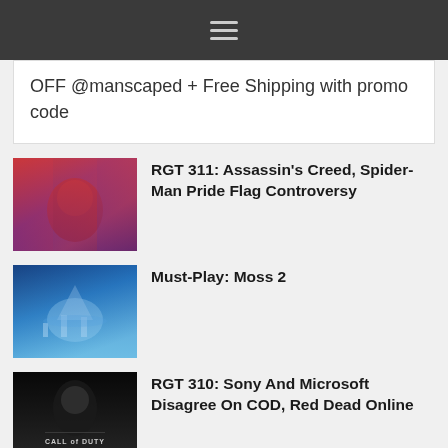≡
OFF @manscaped + Free Shipping with promo code
RGT 311: Assassin's Creed, Spider-Man Pride Flag Controversy
[Figure (photo): Spider-Man in costume with colorful background including pride flag colors]
Must-Play: Moss 2
[Figure (photo): Blue-toned fantasy scene from Moss 2 VR game with glowing castle]
RGT 310: Sony And Microsoft Disagree On COD, Red Dead Online
[Figure (photo): Call of Duty game cover with dark background and soldier silhouette]